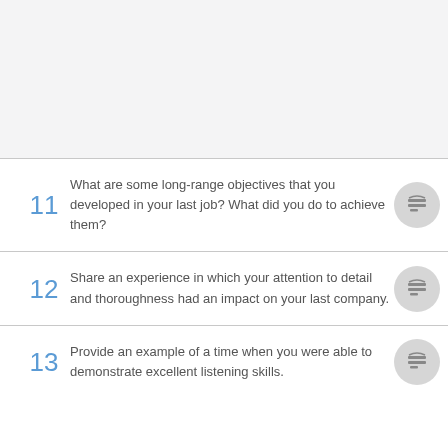[Figure (other): Blank light gray area at top of page]
11 What are some long-range objectives that you developed in your last job? What did you do to achieve them?
12 Share an experience in which your attention to detail and thoroughness had an impact on your last company.
13 Provide an example of a time when you were able to demonstrate excellent listening skills.